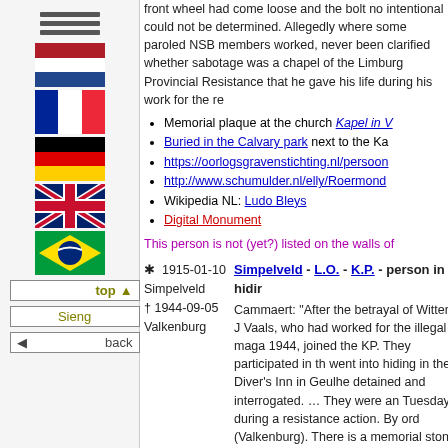[Figure (other): Hamburger menu icon (three horizontal lines)]
[Figure (other): Flag of the Netherlands (red, white, blue horizontal stripes)]
[Figure (other): Flag of France (blue, white, red vertical stripes)]
[Figure (other): Flag of Germany (black, red, gold horizontal stripes)]
[Figure (other): Flag of the United Kingdom (Union Jack)]
[Figure (other): Flag of Brazil (green with yellow diamond and blue globe)]
top
Sieng
back
front wheel had come loose and the bolt no intentional could not be determined. Allegedly where some paroled NSB members worked, never been clarified whether sabotage was a chapel of the Limburg Provincial Resistance that he gave his life during his work for the re
Memorial plaque at the church Kapel in V
Buried in the Calvary park next to the Ka
https://oorlogsgravenstichting.nl/persoon
http://www.schumulder.nl/elly/Roermond
Wikipedia NL: Ludo Bleys
Digital Monument
This person is not (yet?) listed on the walls of
* 1915-01-10
Simpelveld
† 1944-09-05
Valkenburg
Simpelveld - L.O. - K.P. - person in hiding
Cammaert: "After the betrayal of Wittem, J Vaals, who had worked for the illegal maga 1944, joined the KP. They participated in th went into hiding in the Diver's Inn in Geulhe detained and interrogated. … They were an Tuesday) during a resistance action. By ord (Valkenburg). There is a memorial stone a Limburg on that spot.
More in our story Resistance in Valkenburg
Sjeng Coenen op de lijst van personen die tij
https://warsage.nl/levensverhalen/sjeng-
More in our story Resistance in Valkenbur
Digital Monument